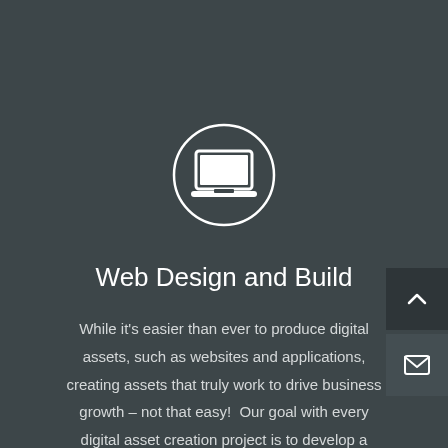[Figure (illustration): Laptop/computer monitor icon inside a circle, white outline on dark background]
Web Design and Build
While it's easier than ever to produce digital assets, such as websites and applications, creating assets that truly work to drive business growth – not that easy!  Our goal with every digital asset creation project is to develop a channel for business growth. How do you do it?